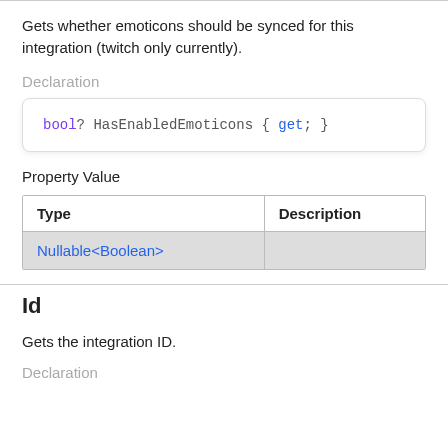Gets whether emoticons should be synced for this integration (twitch only currently).
Declaration
[Figure (screenshot): Code block showing: bool? HasEnabledEmoticons { get; }]
Property Value
| Type | Description |
| --- | --- |
| Nullable<Boolean> |  |
Id
Gets the integration ID.
Declaration